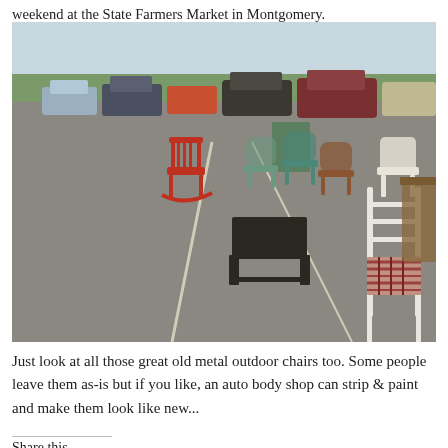weekend at the State Farmers Market in Montgomery.
[Figure (photo): Outdoor flea market scene at a parking lot showing various vintage chairs and furniture for sale, including red rocking chairs, metal outdoor chairs in teal and brown, a white ladder-back chair with woven seat, and a small black coffee table. Cars and market stalls visible in the background.]
Just look at all those great old metal outdoor chairs too. Some people leave them as-is but if you like, an auto body shop can strip & paint and make them look like new...
Share this